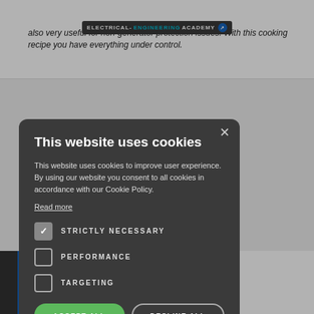also very useful for non-generator protection issues. With this cooking recipe you have everything under control.
[Figure (screenshot): Electrical Engineering Academy website logo in the page header bar]
This website uses cookies
This website uses cookies to improve user experience. By using our website you consent to all cookies in accordance with our Cookie Policy.
Read more
STRICTLY NECESSARY (checked)
PERFORMANCE (unchecked)
TARGETING (unchecked)
ACCEPT ALL
DECLINE ALL
SHOW DETAILS